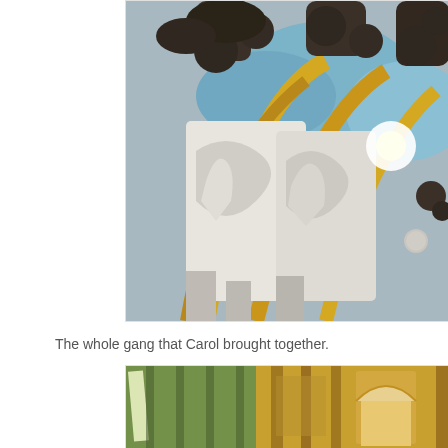[Figure (photo): Interior architectural photo of ornate Gothic-style vaulted ceiling and arches with blue painted sections, gold trim, white carved stone decorative elements, and dark sculptural column capitals. A bright light source visible in the background.]
The whole gang that Carol brought together.
[Figure (photo): Interior photo showing ornate architectural details with green/golden decorative columns, arched windows with warm amber tones, and elaborate carved stonework in a grand ornamental hall.]